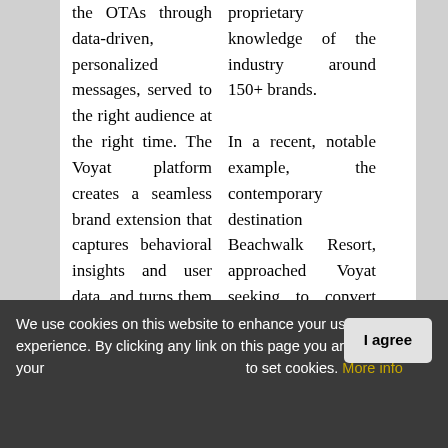the OTAs through data-driven, personalized messages, served to the right audience at the right time. The Voyat platform creates a seamless brand extension that captures behavioral insights and user data, and turns them into personalized communications. The benefits are significant: elevated brand affinity
proprietary knowledge of the industry around 150+ brands.

In a recent, notable example, the contemporary destination Beachwalk Resort, approached Voyat seeking to convert more direct online bookings to reduce margin-killing reliance on
We use cookies on this website to enhance your user experience. By clicking any link on this page you are giving your consent to set cookies. More info